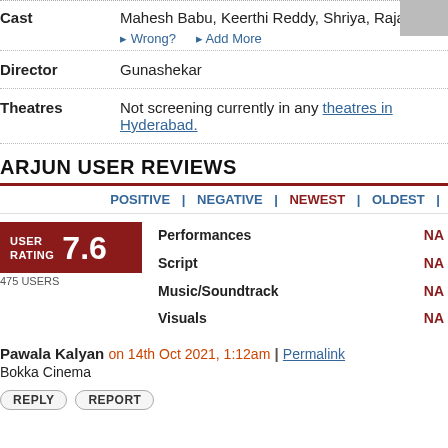Cast: Mahesh Babu, Keerthi Reddy, Shriya, Raja
Wrong? Add More
Director: Gunashekar
Theatres: Not screening currently in any theatres in Hyderabad.
ARJUN USER REVIEWS
POSITIVE | NEGATIVE | NEWEST | OLDEST |
USER RATING 7.6 475 USERS
Performances NA
Script NA
Music/Soundtrack NA
Visuals NA
Pawala Kalyan on 14th Oct 2021, 1:12am | Permalink
Bokka Cinema
REPLY REPORT